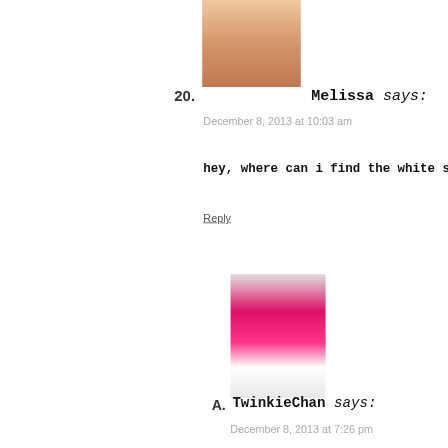[Figure (photo): Avatar photo of user Melissa, a blonde woman against a brick wall, partially cropped]
20. Melissa says:
December 8, 2013 at 10:03 am
hey, where can i find the white sticks
Reply
[Figure (photo): Avatar photo of TwinkieChan, a person with red/pink hair wearing glasses and a white headband, pointing finger toward camera]
A. TwinkieChan says:
December 8, 2013 at 7:26 pm
Basically any craft store or place t lollipop sticks.
Reply
21. Pingback: You'll Eat Up These 10 Adorabl Interesting Videos